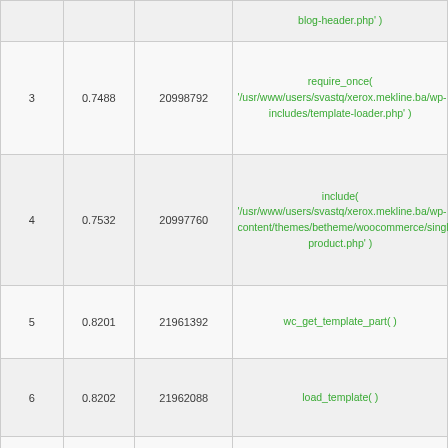| # | Time | Memory | Function |
| --- | --- | --- | --- |
| 3 | 0.7488 | 20998792 | require_once( '/usr/www/users/svastq/xerox.mekline.ba/wp-includes/template-loader.php' ) |
| 4 | 0.7532 | 20997760 | include( '/usr/www/users/svastq/xerox.mekline.ba/wp-content/themes/betheme/woocommerce/single-product.php' ) |
| 5 | 0.8201 | 21961392 | wc_get_template_part( ) |
| 6 | 0.8202 | 21962088 | load_template( ) |
| 7 | 0.8206 | 21963112 | require( '/usr/www/users/svastq/xerox.mekline.ba/wp-content/themes/betheme/woocommerce/content-single-product.php' ) |